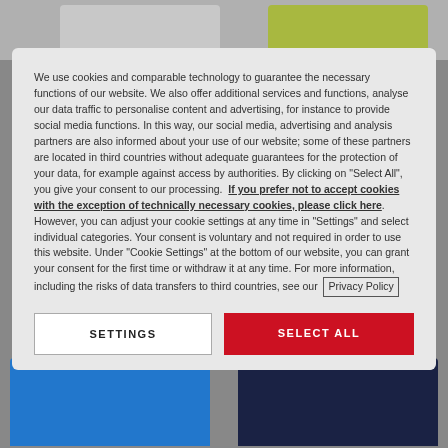We use cookies and comparable technology to guarantee the necessary functions of our website. We also offer additional services and functions, analyse our data traffic to personalise content and advertising, for instance to provide social media functions. In this way, our social media, advertising and analysis partners are also informed about your use of our website; some of these partners are located in third countries without adequate guarantees for the protection of your data, for example against access by authorities. By clicking on "Select All", you give your consent to our processing. If you prefer not to accept cookies with the exception of technically necessary cookies, please click here. However, you can adjust your cookie settings at any time in "Settings" and select individual categories. Your consent is voluntary and not required in order to use this website. Under "Cookie Settings" at the bottom of our website, you can grant your consent for the first time or withdraw it at any time. For more information, including the risks of data transfers to third countries, see our Privacy Policy